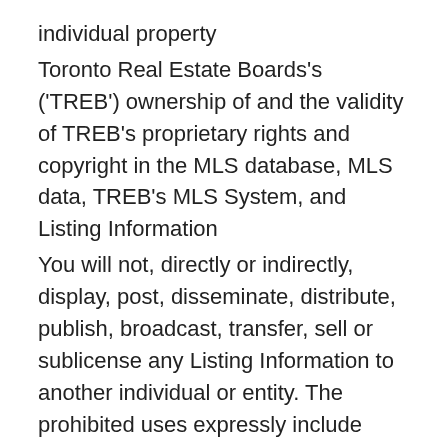individual property
Toronto Real Estate Boards's ('TREB') ownership of and the validity of TREB's proprietary rights and copyright in the MLS database, MLS data, TREB's MLS System, and Listing Information
You will not, directly or indirectly, display, post, disseminate, distribute, publish, broadcast, transfer, sell or sublicense any Listing Information to another individual or entity. The prohibited uses expressly include 'scraping' (including 'screen scraping' and 'database scraping'), 'data mining' or any other activity intended to collect, store, re-organize, summarize or manipulate any Listing Information or any related data
The Terms of Use agreement also expressly authorizes TREB, and other TREB Members or their